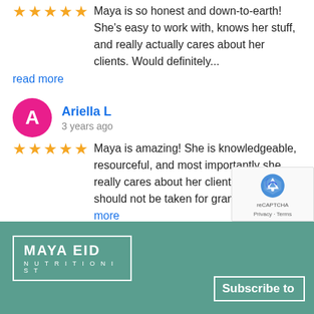Maya is so honest and down-to-earth! She's easy to work with, knows her stuff, and really actually cares about her clients. Would definitely... read more
Ariella L
3 years ago
Maya is amazing! She is knowledgeable, resourceful, and most importantly she really cares about her clients! Which should not be taken for granted -... read more
See All Reviews
[Figure (logo): Maya Eid Nutritionist logo in white on teal background]
Subscribe to
[Figure (other): Google reCAPTCHA badge with logo, Privacy and Terms links]